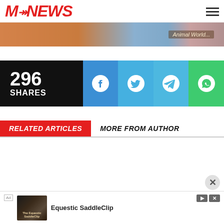MC NEWS (logo with hamburger menu)
[Figure (photo): Advertisement banner image with animal/nature theme and text 'Animal World']
296 SHARES
[Figure (infographic): Social share bar with Facebook, Twitter, Telegram, and WhatsApp icons]
RELATED ARTICLES   MORE FROM AUTHOR
[Figure (photo): Bottom advertisement: Equestic SaddleClip ad with horse image]
Ad   Equestic SaddleClip